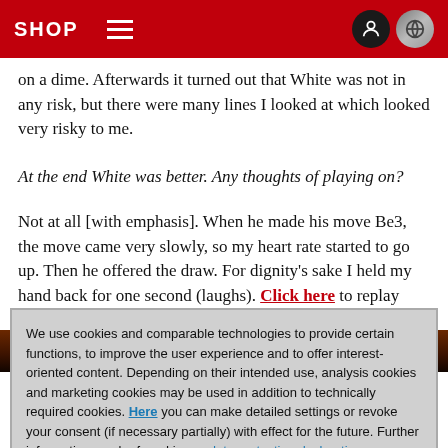SHOP
on a dime. Afterwards it turned out that White was not in any risk, but there were many lines I looked at which looked very risky to me.
At the end White was better. Any thoughts of playing on?
Not at all [with emphasis]. When he made his move Be3, the move came very slowly, so my heart rate started to go up. Then he offered the draw. For dignity's sake I held my hand back for one second (laughs). Click here to replay game ten with annotations.
[Figure (photo): Dark reddish-brown background image strip, partially visible]
We use cookies and comparable technologies to provide certain functions, to improve the user experience and to offer interest-oriented content. Depending on their intended use, analysis cookies and marketing cookies may be used in addition to technically required cookies. Here you can make detailed settings or revoke your consent (if necessary partially) with effect for the future. Further information can be found in our data protection declaration.